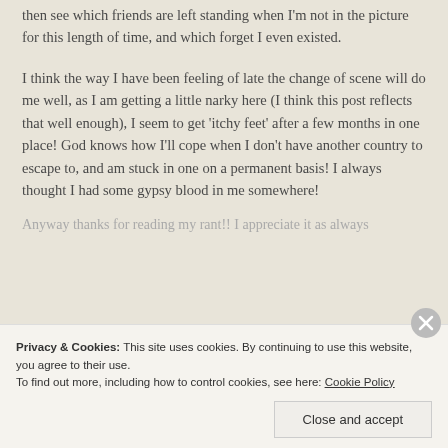then see which friends are left standing when I'm not in the picture for this length of time, and which forget I even existed.
I think the way I have been feeling of late the change of scene will do me well, as I am getting a little narky here (I think this post reflects that well enough), I seem to get 'itchy feet' after a few months in one place! God knows how I'll cope when I don't have another country to escape to, and am stuck in one on a permanent basis! I always thought I had some gypsy blood in me somewhere!
Anyway thanks for reading my rant!! I appreciate it as always
Privacy & Cookies: This site uses cookies. By continuing to use this website, you agree to their use.
To find out more, including how to control cookies, see here: Cookie Policy